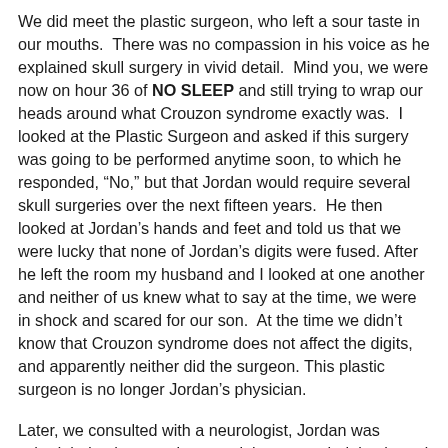We did meet the plastic surgeon, who left a sour taste in our mouths.  There was no compassion in his voice as he explained skull surgery in vivid detail.  Mind you, we were now on hour 36 of NO SLEEP and still trying to wrap our heads around what Crouzon syndrome exactly was.  I looked at the Plastic Surgeon and asked if this surgery was going to be performed anytime soon, to which he responded, “No,” but that Jordan would require several skull surgeries over the next fifteen years.  He then looked at Jordan’s hands and feet and told us that we were lucky that none of Jordan’s digits were fused. After he left the room my husband and I looked at one another and neither of us knew what to say at the time, we were in shock and scared for our son.  At the time we didn’t know that Crouzon syndrome does not affect the digits, and apparently neither did the surgeon. This plastic surgeon is no longer Jordan’s physician.
Later, we consulted with a neurologist, Jordan was scheduled to have an intracranial pressure bolt implanted to measure the pressure in his skull. Doctors monitored the intracranial pressure bolt for less than 24 hours.  They were able to tell a few hours into the monitoring that his...